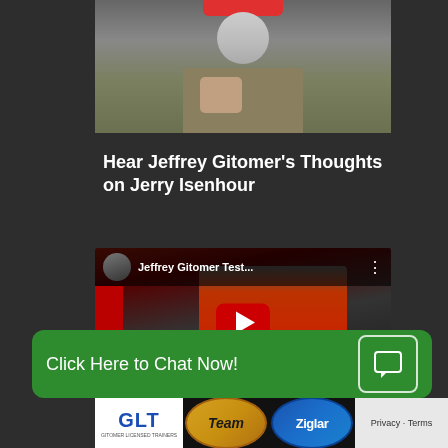[Figure (screenshot): Top portion of a video screenshot showing a person in grey/olive clothing holding up a fist, with a red bar/button at top center, dark background]
Hear Jeffrey Gitomer's Thoughts on Jerry Isenhour
[Figure (screenshot): YouTube video embed showing Jeffrey Gitomer testimonial video. Title reads 'Jeffrey Gitomer Test...' with play button overlay. Shows person in red shirt with G logo on left side.]
Click Here to Chat Now!
[Figure (logo): Bottom logos bar showing GLT (Gitomer Licensed Trainers), Team badge, Ziglar badge, and Privacy/Terms text]